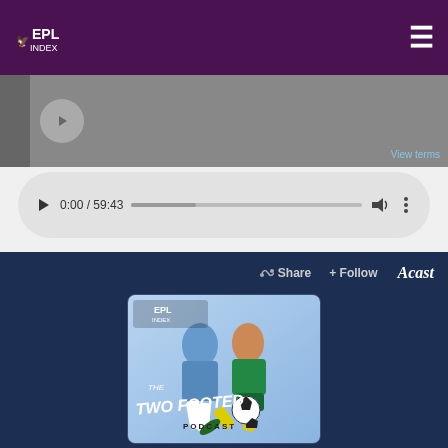[Figure (screenshot): EPL Index website navigation bar with logo on left and hamburger menu on right, dark purple background]
[Figure (screenshot): Video/content player gray bar with play button circle and View terms link]
[Figure (screenshot): Audio player showing 0:00 / 59:43 with progress bar, volume and more options icons on light gray rounded pill background]
[Figure (screenshot): Acast embedded podcast player panel with Share and Follow buttons and Acast logo, showing The Two Footed Podcast artwork with EPL Index logo and cartoon footballer sliding tackle]
View terms
0:00 / 59:43
Share
+ Follow
Acast